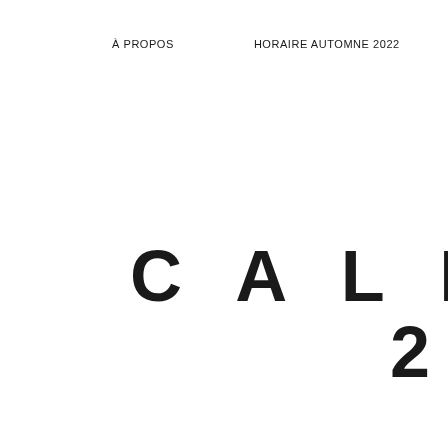À PROPOS     HORAIRE AUTOMNE 2022
CALENDRI 2